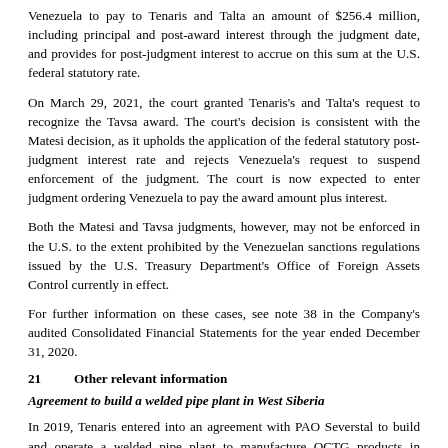Venezuela to pay to Tenaris and Talta an amount of $256.4 million, including principal and post-award interest through the judgment date, and provides for post-judgment interest to accrue on this sum at the U.S. federal statutory rate.
On March 29, 2021, the court granted Tenaris's and Talta's request to recognize the Tavsa award. The court's decision is consistent with the Matesi decision, as it upholds the application of the federal statutory post-judgment interest rate and rejects Venezuela's request to suspend enforcement of the judgment. The court is now expected to enter judgment ordering Venezuela to pay the award amount plus interest.
Both the Matesi and Tavsa judgments, however, may not be enforced in the U.S. to the extent prohibited by the Venezuelan sanctions regulations issued by the U.S. Treasury Department's Office of Foreign Assets Control currently in effect.
For further information on these cases, see note 38 in the Company's audited Consolidated Financial Statements for the year ended December 31, 2020.
21    Other relevant information
Agreement to build a welded pipe plant in West Siberia
In 2019, Tenaris entered into an agreement with PAO Severstal to build and operate a welded pipe plant to manufacture OCTG products in Surgut, West Siberia, Russian Federation. Tenaris holds a 49% interest in the company, while PAO Severstal owns the remaining 51%. The plant, which is estimated to require a total investment of $280 million, is planned to have an annual production capacity of 300,000 tons.